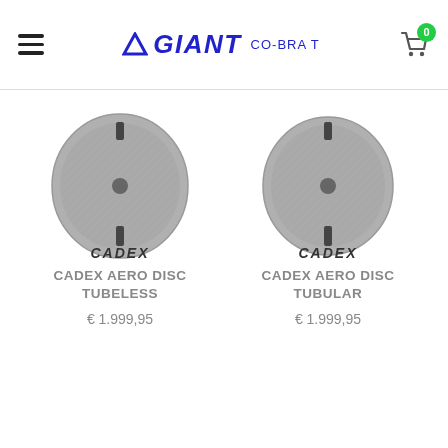Giant CO-BRA T — Navigation header with hamburger menu and cart (0 items)
[Figure (photo): CADEX disc wheel product photo — dark carbon disc wheel with CADEX branding]
CADEX AERO DISC TUBELESS
€ 1.999,95
[Figure (photo): CADEX disc wheel product photo — dark carbon disc wheel with CADEX branding]
CADEX AERO DISC TUBULAR
€ 1.999,95